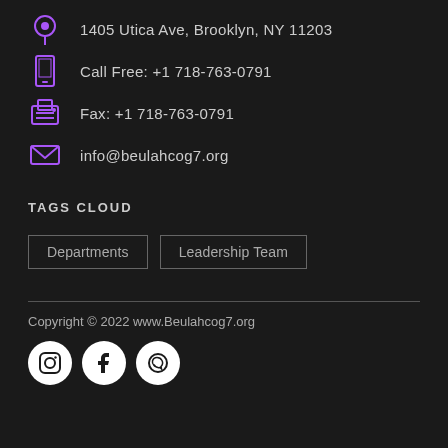1405 Utica Ave, Brooklyn, NY 11203
Call Free: +1 718-763-0791
Fax: +1 718-763-0791
info@beulahcog7.org
TAGS CLOUD
Departments
Leadership Team
Copyright © 2022 www.Beulahcog7.org